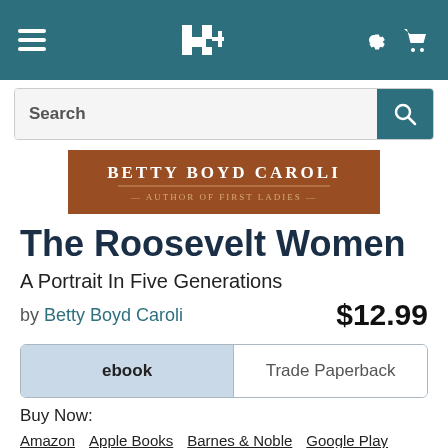Navigation bar with hamburger menu, logo, settings and cart icons
Search
[Figure (illustration): Book banner image for Betty Boyd Caroli, Author of First Ladies]
The Roosevelt Women
A Portrait In Five Generations
by Betty Boyd Caroli   $12.99
ebook   Trade Paperback
Buy Now:
Amazon   Apple Books   Barnes & Noble   Google Play
Ebooks.com   Kobo